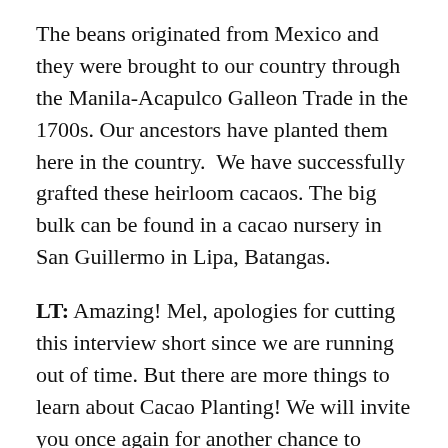The beans originated from Mexico and they were brought to our country through the Manila-Acapulco Galleon Trade in the 1700s. Our ancestors have planted them here in the country.  We have successfully grafted these heirloom cacaos. The big bulk can be found in a cacao nursery in San Guillermo in Lipa, Batangas.
LT: Amazing! Mel, apologies for cutting this interview short since we are running out of time. But there are more things to learn about Cacao Planting! We will invite you once again for another chance to discuss more on Cacao Planting. We will also see you next week in our Agri seminar, yes? Before we end this